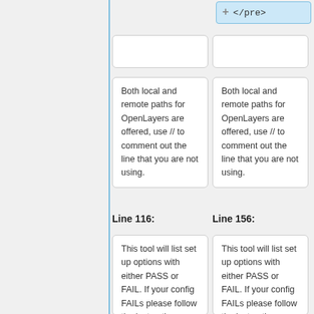</pre>
Both local and remote paths for OpenLayers are offered, use // to comment out the line that you are not using.
Both local and remote paths for OpenLayers are offered, use // to comment out the line that you are not using.
Line 116:
Line 156:
This tool will list set up options with either PASS or FAIL. If your config FAILs please follow the instructions on the preflight checks page, or
This tool will list set up options with either PASS or FAIL. If your config FAILs please follow the instructions on the preflight checks page, or